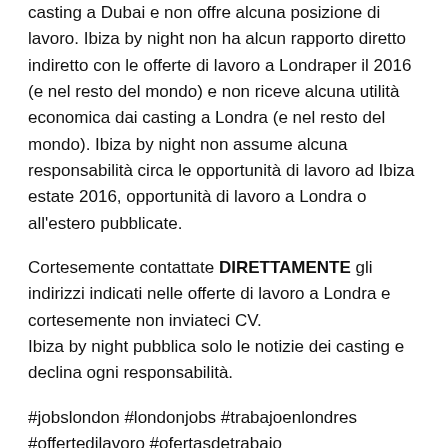casting a Dubai e non offre alcuna posizione di lavoro. Ibiza by night non ha alcun rapporto diretto indiretto con le offerte di lavoro a Londraper il 2016 (e nel resto del mondo) e non riceve alcuna utilità economica dai casting a Londra (e nel resto del mondo). Ibiza by night non assume alcuna responsabilità circa le opportunità di lavoro ad Ibiza estate 2016, opportunità di lavoro a Londra o all'estero pubblicate.
Cortesemente contattate DIRETTAMENTE gli indirizzi indicati nelle offerte di lavoro a Londra e cortesemente non inviateci CV.
Ibiza by night pubblica solo le notizie dei casting e declina ogni responsabilità.
#jobslondon #londonjobs #trabajoenlondres #offertedilavoro #ofertasdetrabajo #opportunitàdilavoro